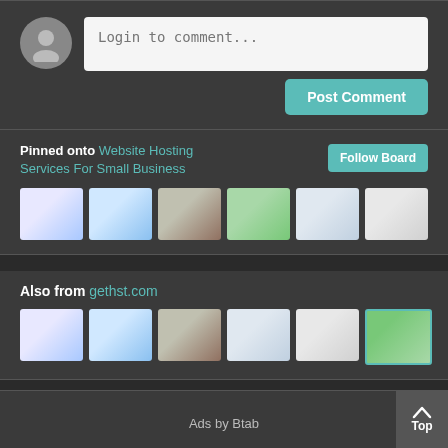[Figure (screenshot): Comment box UI with user avatar placeholder and 'Login to comment...' text input field]
Post Comment
Pinned onto Website Hosting Services For Small Business
Follow Board
[Figure (photo): Six thumbnail images pinned to board]
Also from gethst.com
[Figure (photo): Six thumbnail images from gethst.com]
Ads by Btab
Top